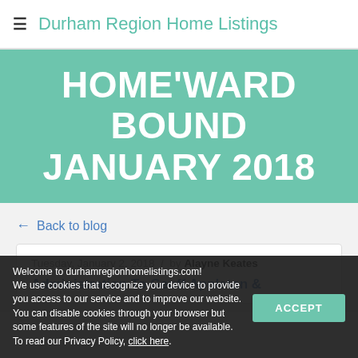Durham Region Home Listings
HOME'WARD BOUND JANUARY 2018
← Back to blog
Tuesday, January 2, 2018 / by Alayne Keates
Administration To Geoff Appleton &
Welcome to durhamregionhomelistings.com! We use cookies that recognize your device to provide you access to our service and to improve our website. You can disable cookies through your browser but some features of the site will no longer be available. To read our Privacy Policy, click here.